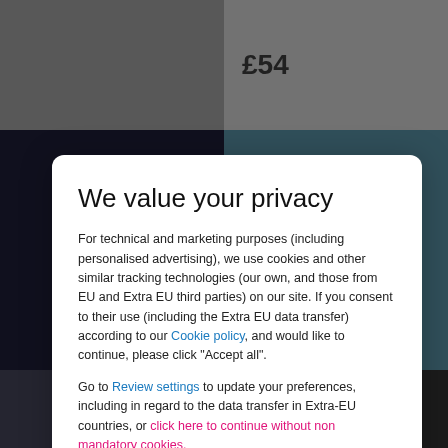£54
We value your privacy
For technical and marketing purposes (including personalised advertising), we use cookies and other similar tracking technologies (our own, and those from EU and Extra EU third parties) on our site. If you consent to their use (including the Extra EU data transfer) according to our Cookie policy, and would like to continue, please click "Accept all".
Go to Review settings to update your preferences, including in regard to the data transfer in Extra-EU countries, or click here to continue without non mandatory cookies.
ACCEPT ALL